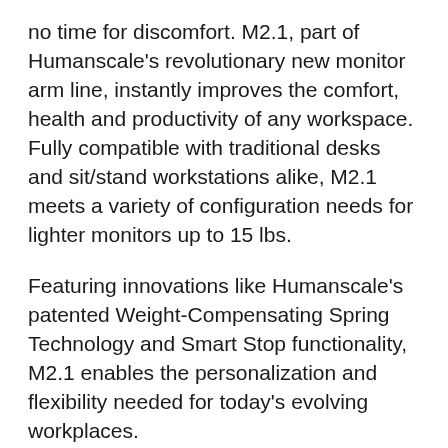no time for discomfort. M2.1, part of Humanscale's revolutionary new monitor arm line, instantly improves the comfort, health and productivity of any workspace. Fully compatible with traditional desks and sit/stand workstations alike, M2.1 meets a variety of configuration needs for lighter monitors up to 15 lbs.
Featuring innovations like Humanscale's patented Weight-Compensating Spring Technology and Smart Stop functionality, M2.1 enables the personalization and flexibility needed for today's evolving workplaces.
M2.1 supports a better working posture, creates more usable desktop space and helps maintain a clutter-free environment. It offers quick, simple installation and industry-leading flexibility thanks to patent-pending Quick Release joints that instantly snap together for a secure and robust fit.